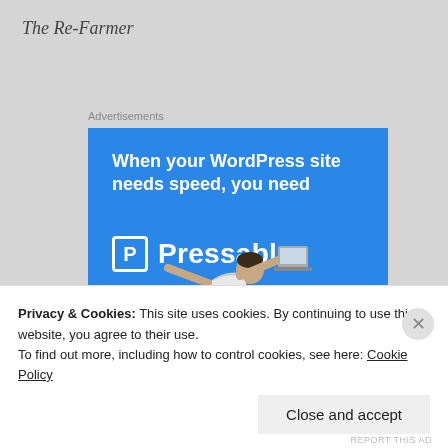The Re-Farmer
Advertisements
[Figure (illustration): Pressable web hosting advertisement on blue background. Text reads: 'When your WordPress site needs speed, you need Pressable' with a P logo, teal divider line, a flying man holding a laptop, and a 'START NOW' button with teal border.]
Privacy & Cookies: This site uses cookies. By continuing to use this website, you agree to their use.
To find out more, including how to control cookies, see here: Cookie Policy
Close and accept